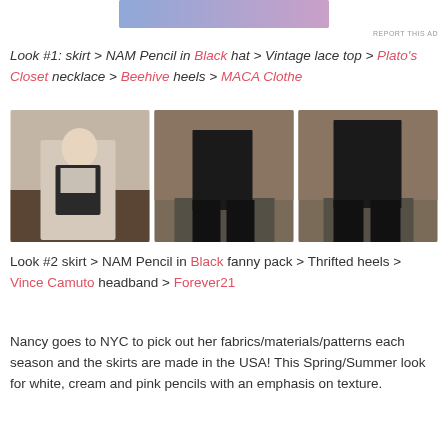[Figure (photo): Partial advertisement banner at the top of the page with gradient from blue to pink.]
REPORT THIS AD
Look #1: skirt > NAM Pencil in Black hat > Vintage lace top > Plato's Closet necklace > Beehive heels > MACA Clothe
[Figure (photo): Three fashion photos showing a woman wearing a black pencil skirt with a patterned top (left), a close-up of the black skirt from behind with black boots on wooden steps (center), and a side close-up of the black skirt and boots (right).]
Look #2 skirt > NAM Pencil in Black fanny pack > Thrifted heels > Vince Camuto headband > Forever21
Nancy goes to NYC to pick out her fabrics/materials/patterns each season and the skirts are made in the USA! This Spring/Summer look for white, cream and pink pencils with an emphasis on texture.